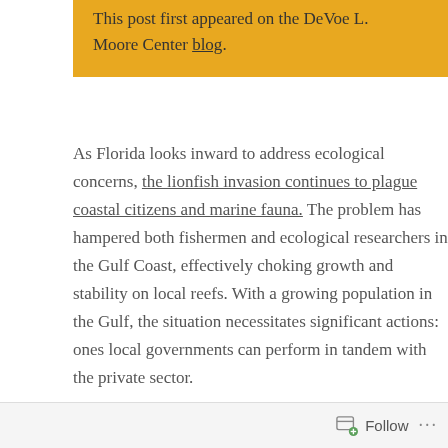This post first appeared on the DeVoe L. Moore Center blog.
As Florida looks inward to address ecological concerns, the lionfish invasion continues to plague coastal citizens and marine fauna. The problem has hampered both fishermen and ecological researchers in the Gulf Coast, effectively choking growth and stability on local reefs. With a growing population in the Gulf, the situation necessitates significant actions: ones local governments can perform in tandem with the private sector.
State funding could promote both private and government involvement, primarily in regards to
Follow ···